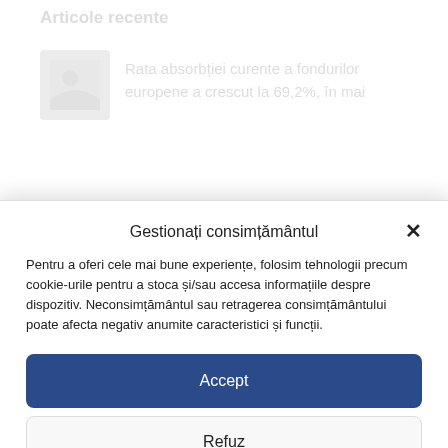Articole recente
Rata absorbției curente a fondurilor europene a crescut la 69,2%, în mai
Gestionați consimțământul
Pentru a oferi cele mai bune experiențe, folosim tehnologii precum cookie-urile pentru a stoca și/sau accesa informațiile despre dispozitiv. Neconsimțământul sau retragerea consimțământului poate afecta negativ anumite caracteristici și funcții.
Accept
Refuz
Vizualizați preferințele
Politica privind cookie-urile